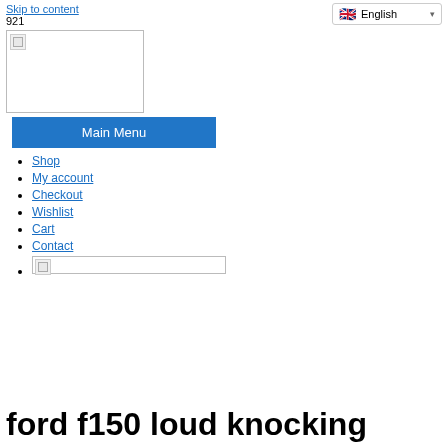Skip to content
English
921
[Figure (other): Broken/placeholder image in logo area]
Main Menu
Shop
My account
Checkout
Wishlist
Cart
Contact
[Figure (other): Broken/placeholder image in nav list]
ford f150 loud knocking